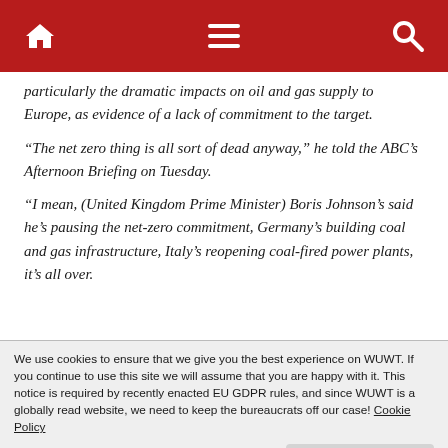[Navigation bar with home, menu, and search icons on dark red background]
particularly the dramatic impacts on oil and gas supply to Europe, as evidence of a lack of commitment to the target.
“The net zero thing is all sort of dead anyway,” he told the ABC’s Afternoon Briefing on Tuesday.
“I mean, (United Kingdom Prime Minister) Boris Johnson’s said he’s pausing the net-zero commitment, Germany’s building coal and gas infrastructure, Italy’s reopening coal-fired power plants, it’s all over.
We use cookies to ensure that we give you the best experience on WUWT. If you continue to use this site we will assume that you are happy with it. This notice is required by recently enacted EU GDPR rules, and since WUWT is a globally read website, we need to keep the bureaucrats off our case! Cookie Policy
nationals-senator-matt-canavan-labels-netzero-goal-